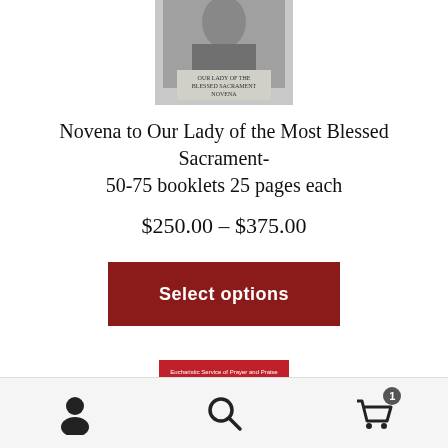[Figure (photo): Book cover of 'Our Lady of the Blessed Sacrament Novena' shown in grayscale at the top of the page]
Novena to Our Lady of the Most Blessed Sacrament- 50-75 booklets 25 pages each
$250.00 – $375.00
Select options
[Figure (photo): Book cover with red background and blue circle, titled 'Eucharistic Service of Prayer and Praise - The Prayer of Your Heart - A Holy Hour with Saint Ann']
Navigation bar with user icon, search icon, and shopping cart icon with badge showing 1 item